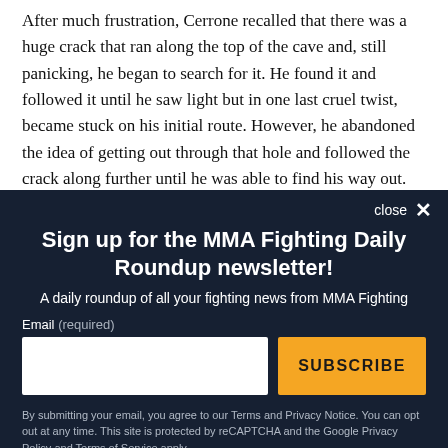After much frustration, Cerrone recalled that there was a huge crack that ran along the top of the cave and, still panicking, he began to search for it. He found it and followed it until he saw light but in one last cruel twist, became stuck on his initial route. However, he abandoned the idea of getting out through that hole and followed the crack along further until he was able to find his way out.
Sign up for the MMA Fighting Daily Roundup newsletter!
A daily roundup of all your fighting news from MMA Fighting
Email (required)
SUBSCRIBE
By submitting your email, you agree to our Terms and Privacy Notice. You can opt out at any time. This site is protected by reCAPTCHA and the Google Privacy Policy and Terms of Service apply.